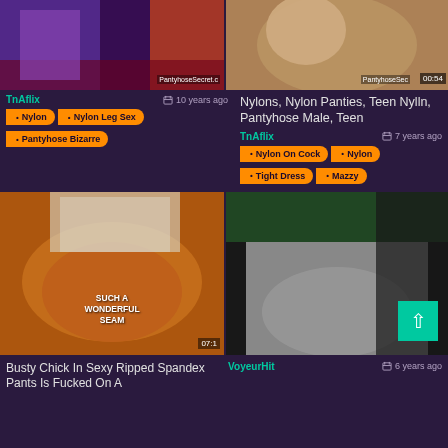[Figure (photo): Video thumbnail showing figures in purple and red tones with PantyhoseSecret.com watermark]
[Figure (photo): Video thumbnail showing close-up skin tones with PantyhoseSecret watermark and 00:54 timer]
TnAflix
10 years ago
Nylon
Nylon Leg Sex
Pantyhose Bizarre
Nylons, Nylon Panties, Teen Nylln, Pantyhose Male, Teen
TnAflix
7 years ago
Nylon On Cock
Nylon
Tight Dress
Mazzy
[Figure (photo): Video thumbnail showing orange/colorful fabric with text SUCH A WONDERFUL SEAM]
[Figure (photo): Video thumbnail showing gray leggings/spandex from behind with teal scroll-to-top button]
Busty Chick In Sexy Ripped Spandex Pants Is Fucked On A
VoyeurHit
6 years ago